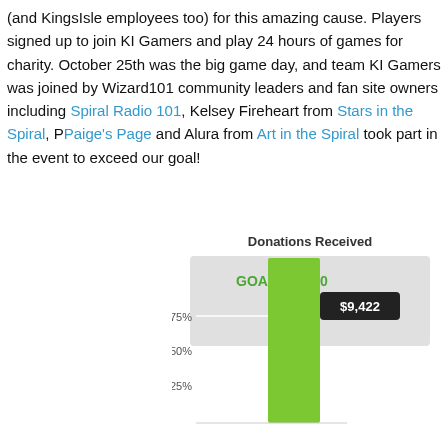(and KingsIsle employees too) for this amazing cause. Players signed up to join KI Gamers and play 24 hours of games for charity. October 25th was the big game day, and team KI Gamers was joined by Wizard101 community leaders and fan site owners including Spiral Radio 101, Kelsey Fireheart from Stars in the Spiral, Paige's Page and Alura from Art in the Spiral took part in the event to exceed our goal!
[Figure (bar-chart): Donations Received]